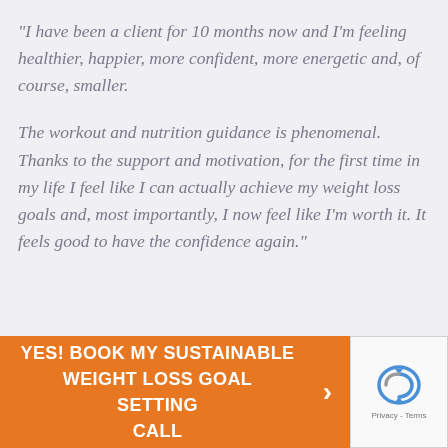"I have been a client for 10 months now and I'm feeling healthier, happier, more confident, more energetic and, of course, smaller.

The workout and nutrition guidance is phenomenal. Thanks to the support and motivation, for the first time in my life I feel like I can actually achieve my weight loss goals and, most importantly, I now feel like I'm worth it. It feels good to have the confidence again."
[Figure (other): Orange call-to-action button with text 'YES! BOOK MY SUSTAINABLE WEIGHT LOSS GOAL SETTING CALL' with a right-arrow, alongside a reCAPTCHA widget showing the reCAPTCHA logo and 'Privacy - Terms' text.]